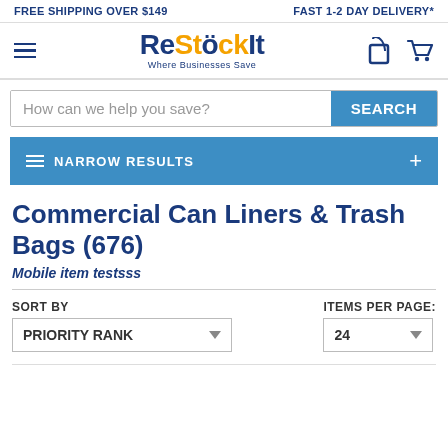FREE SHIPPING OVER $149    FAST 1-2 DAY DELIVERY*
[Figure (logo): ReStockIt logo with tagline 'Where Businesses Save']
How can we help you save?
NARROW RESULTS
Commercial Can Liners & Trash Bags (676)
Mobile item testsss
SORT BY  PRIORITY RANK
ITEMS PER PAGE: 24